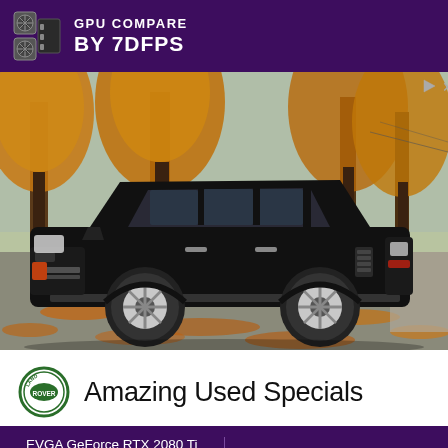GPU COMPARE BY 7DFPS
[Figure (photo): Advertisement showing a black Range Rover SUV parked on a leaf-covered driveway with autumn trees in the background. Land Rover logo and 'Amazing Used Specials' text below the photo.]
Amazing Used Specials
EVGA GeForce RTX 2080 Ti FTW3 Ultra | Palit GTX 1080 Ti JetStream